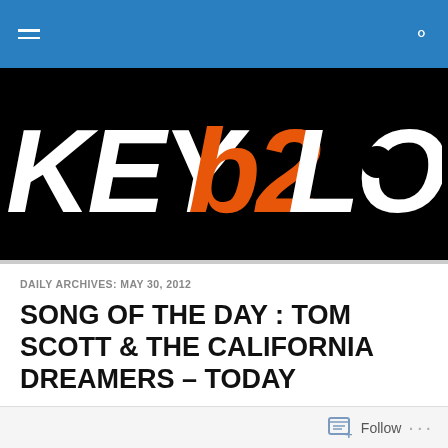[Figure (logo): KEYb2LOCK website logo in white and orange bold italic text on black background]
DAILY ARCHIVES: MAY 30, 2012
SONG OF THE DAY : TOM SCOTT & THE CALIFORNIA DREAMERS – TODAY
[Figure (screenshot): Dark video player embed area, partially visible at bottom of page]